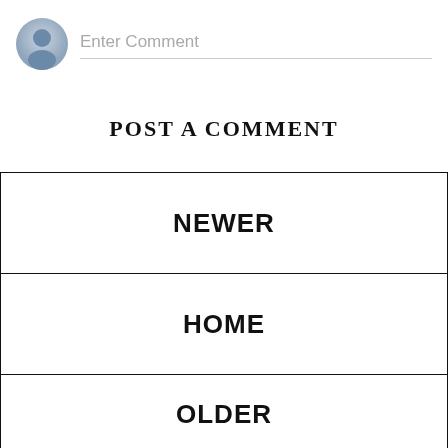[Figure (other): User avatar placeholder icon (gray silhouette on light blue-gray circle)]
Enter Comment
POST A COMMENT
NEWER
HOME
OLDER